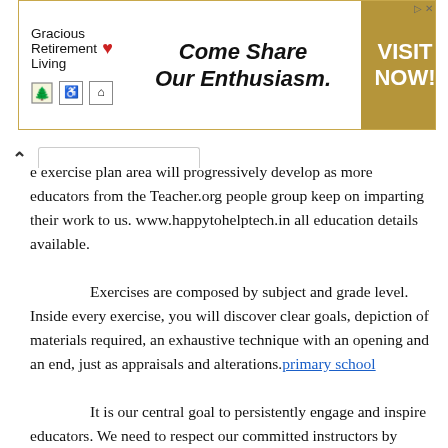[Figure (other): Advertisement banner for Gracious Retirement Living with tagline 'Come Share Our Enthusiasm.' and a gold 'VISIT NOW!' call-to-action button.]
e exercise plan area will progressively develop as more educators from the Teacher.org people group keep on imparting their work to us. www.happytohelptech.in all education details available.
Exercises are composed by subject and grade level. Inside every exercise, you will discover clear goals, depiction of materials required, an exhaustive technique with an opening and an end, just as appraisals and alterations. primary school
It is our central goal to persistently engage and inspire educators. We need to respect our committed instructors by imparting their work to the more extensive of